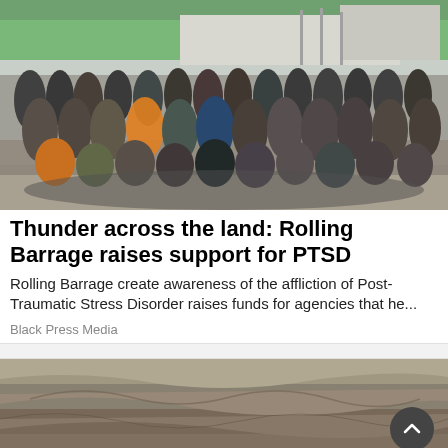[Figure (photo): Group photo of a large crowd of motorcycle riders and supporters posing outdoors in front of a building with trees and flagpoles. Many wearing leather vests and jackets. Rolling Barrage event photo.]
Thunder across the land: Rolling Barrage raises support for PTSD
Rolling Barrage create awareness of the affliction of Post-Traumatic Stress Disorder raises funds for agencies that he...
Black Press Media
[Figure (photo): Aerial or elevated photograph of a rocky, hilly terrain landscape. Partial view, cut off at page bottom.]